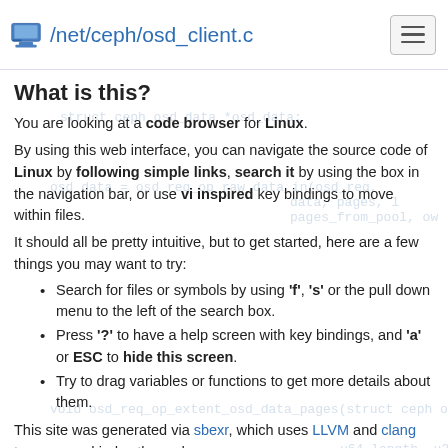/net/ceph/osd_client.c
What is this?
You are looking at a code browser for Linux.
By using this web interface, you can navigate the source code of Linux by following simple links, search it by using the box in the navigation bar, or use vi inspired key bindings to move within files.
It should all be pretty intuitive, but to get started, here are a few things you may want to try:
Search for files or symbols by using 'f', 's' or the pull down menu to the left of the search box.
Press '?' to have a help screen with key bindings, and 'a' or ESC to hide this screen.
Try to drag variables or functions to get more details about them.
This site was generated via sbexr, which uses LLVM and clang to parse and index the code.
sbexr is free software (as in "free speech"), under heavy development, show/above.org and the Linux kernel source code